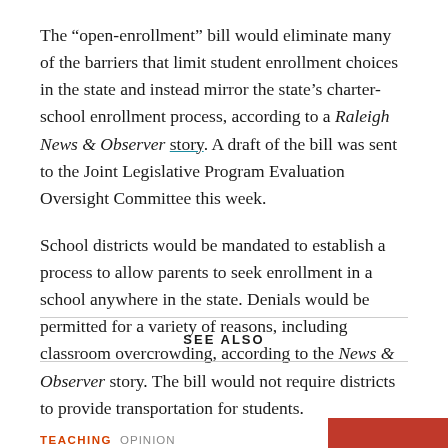The “open-enrollment” bill would eliminate many of the barriers that limit student enrollment choices in the state and instead mirror the state’s charter-school enrollment process, according to a Raleigh News & Observer story. A draft of the bill was sent to the Joint Legislative Program Evaluation Oversight Committee this week.
School districts would be mandated to establish a process to allow parents to seek enrollment in a school anywhere in the state. Denials would be permitted for a variety of reasons, including classroom overcrowding, according to the News & Observer story. The bill would not require districts to provide transportation for students.
SEE ALSO
TEACHING   OPINION